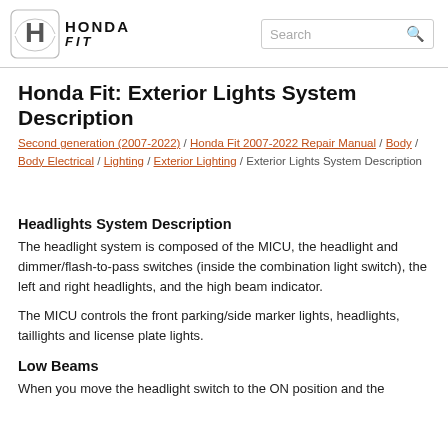[Figure (logo): Honda Fit logo with Honda wings emblem and HONDA FIT wordmark]
Honda Fit: Exterior Lights System Description
Second generation (2007-2022) / Honda Fit 2007-2022 Repair Manual / Body / Body Electrical / Lighting / Exterior Lighting / Exterior Lights System Description
Headlights System Description
The headlight system is composed of the MICU, the headlight and dimmer/flash-to-pass switches (inside the combination light switch), the left and right headlights, and the high beam indicator.
The MICU controls the front parking/side marker lights, headlights, taillights and license plate lights.
Low Beams
When you move the headlight switch to the ON position and the